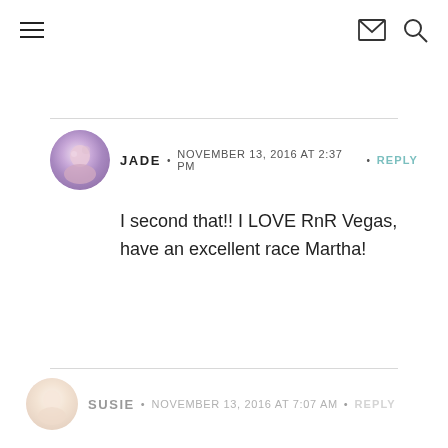navigation header with hamburger menu, mail icon, search icon
JADE · NOVEMBER 13, 2016 AT 2:37 PM · REPLY
I second that!! I LOVE RnR Vegas, have an excellent race Martha!
SUSIE · NOVEMBER 13, 2016 AT 7:07 AM · REPLY